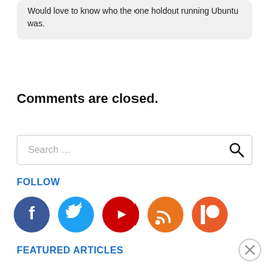Would love to know who the one holdout running Ubuntu was.
Comments are closed.
[Figure (other): Search bar with placeholder text 'Search ...' and a magnifying glass icon]
FOLLOW
[Figure (other): Social media icons: Facebook (dark blue circle), Twitter (light blue circle), YouTube (red circle), RSS (orange circle), Patreon (orange-red circle)]
FEATURED ARTICLES